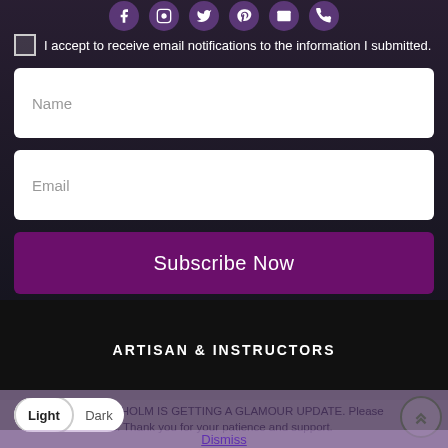[Figure (screenshot): Social media icons row (Facebook, Instagram, Twitter, Pinterest, Email, Mail) as circular purple buttons at the top of the page]
I accept to receive email notifications to the information I submitted.
Name
Email
Subscribe Now
ARTISAN & INSTRUCTORS
ATTENTION: FAEHOLM IS GETTING A GLAMOUR UPDATE. Please a s. Thank you for your patience and support.
Dismiss